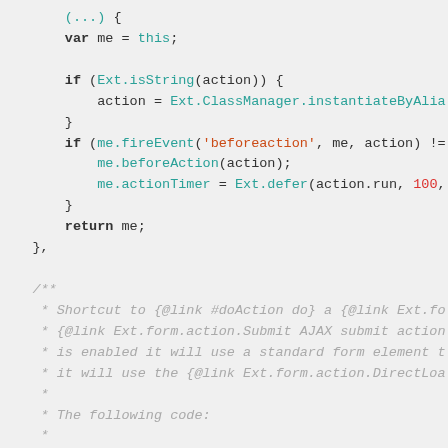Code snippet showing JavaScript function body and JSDoc comment block